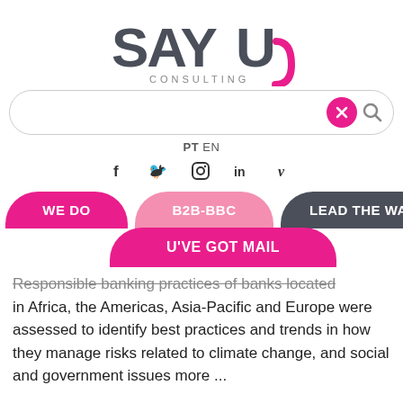[Figure (logo): SAYU Consulting logo — bold stylized text 'SAYU' in dark grey with a magenta U tail, and 'CONSULTING' in spaced caps below]
[Figure (screenshot): Search bar with close (X) button in magenta circle and magnifying glass icon]
PT EN
[Figure (infographic): Social media icons: Facebook (f), Twitter (bird), Instagram (circle), LinkedIn (in), Vimeo (v)]
WE DO
B2B-BBC
LEAD THE WAY
U'VE GOT MAIL
Responsible banking practices of banks located in Africa, the Americas, Asia-Pacific and Europe were assessed to identify best practices and trends in how they manage risks related to climate change, and social and government issues more ...